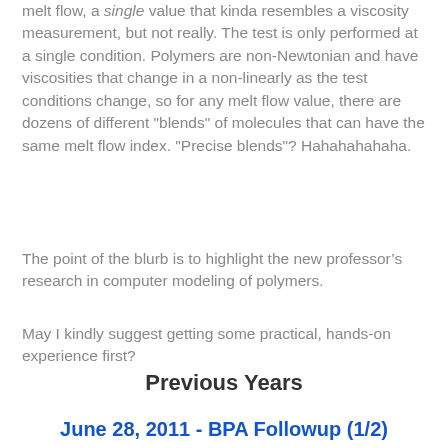melt flow, a single value that kinda resembles a viscosity measurement, but not really. The test is only performed at a single condition. Polymers are non-Newtonian and have viscosities that change in a non-linearly as the test conditions change, so for any melt flow value, there are dozens of different "blends" of molecules that can have the same melt flow index. "Precise blends"? Hahahahahaha.
The point of the blurb is to highlight the new professor’s research in computer modeling of polymers.
May I kindly suggest getting some practical, hands-on experience first?
Previous Years
June 28, 2011 - BPA Followup (1/2)